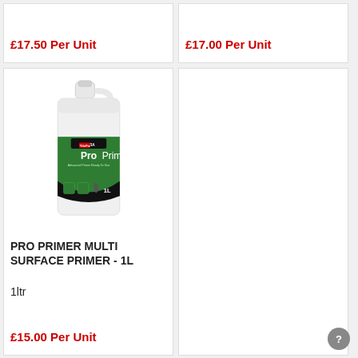£17.50 Per Unit
£17.00 Per Unit
[Figure (photo): A white plastic 1-litre bottle/jerry can of Ultra Tile Pro ProPrimer Multi Surface Primer, with a green and black label.]
PRO PRIMER MULTI SURFACE PRIMER - 1L
1ltr
£15.00 Per Unit